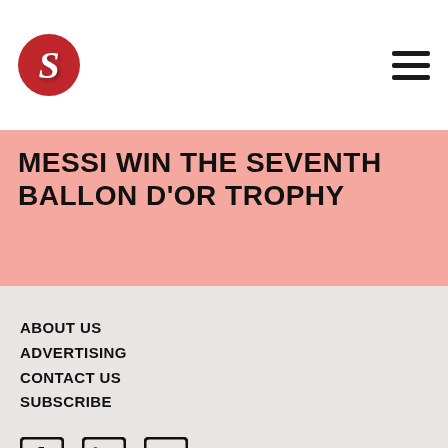[Figure (logo): Red circular logo with stylized white letter S in the center, top-left of header]
MESSI WIN THE SEVENTH BALLON D'OR TROPHY
ABOUT US
ADVERTISING
CONTACT US
SUBSCRIBE
[Figure (other): Social media icons: Facebook, LinkedIn, Twitter in square outlines]
© 2021 THE S MEDIA
ALL RIGHTS RESERVED